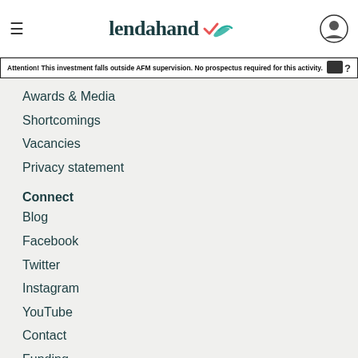lendahand
Attention! This investment falls outside AFM supervision. No prospectus required for this activity.
Awards & Media
Shortcomings
Vacancies
Privacy statement
Connect
Blog
Facebook
Twitter
Instagram
YouTube
Contact
Funding
Stay informed!
Subscribe for our newsletter and be the first to receive the latest news from Lendahand.